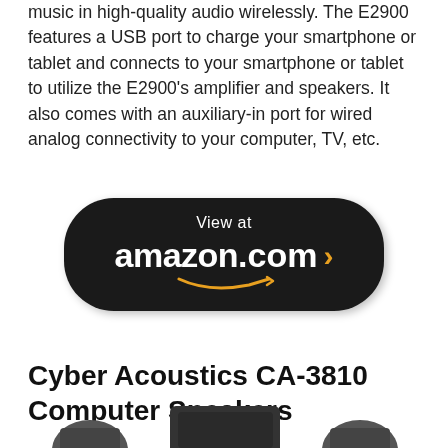music in high-quality audio wirelessly. The E2900 features a USB port to charge your smartphone or tablet and connects to your smartphone or tablet to utilize the E2900's amplifier and speakers. It also comes with an auxiliary-in port for wired analog connectivity to your computer, TV, etc.
[Figure (other): Dark rounded rectangle button with 'View at amazon.com >' text and Amazon smile logo in orange]
Cyber Acoustics CA-3810 Computer Speakers
[Figure (photo): Partial bottom view of Cyber Acoustics CA-3810 computer speakers in dark gray/black color]